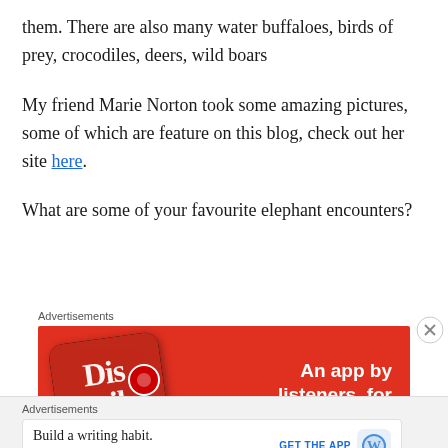them. There are also many water buffaloes, birds of prey, crocodiles, deers, wild boars
My friend Marie Norton took some amazing pictures, some of which are feature on this blog, check out her site here.
What are some of your favourite elephant encounters?
[Figure (other): Advertisement banner: red background with phone showing 'Dis-trib-d' app, text reads 'An app by listeners, for listeners.']
[Figure (other): Advertisement: 'Build a writing habit. Post on the go.' with GET THE APP button and WordPress logo]